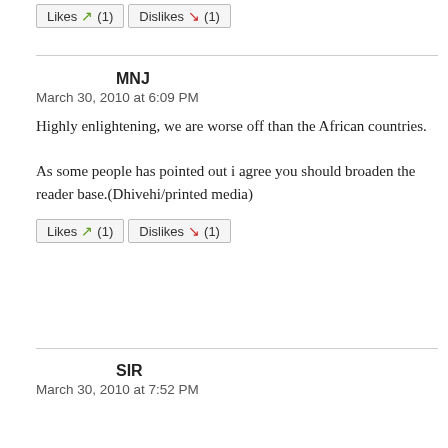[Figure (other): Likes and Dislikes buttons at top of page, each showing count (1)]
MNJ
March 30, 2010 at 6:09 PM
Highly enlightening, we are worse off than the African countries.

As some people has pointed out i agree you should broaden the reader base.(Dhivehi/printed media)
[Figure (other): Likes and Dislikes buttons, each showing count (1)]
SIR
March 30, 2010 at 7:52 PM